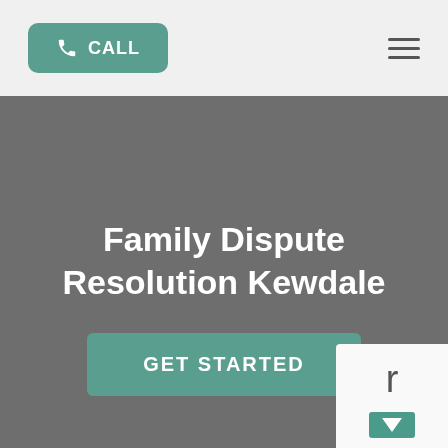CALL
Family Dispute Resolution Kewdale
GET STARTED